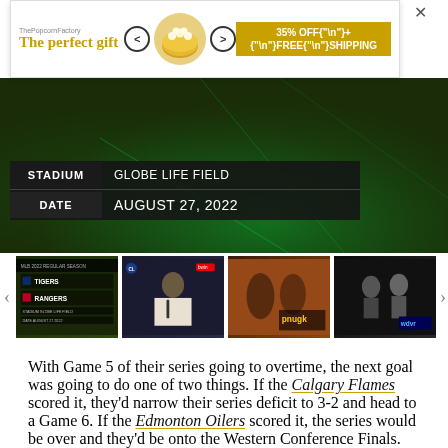[Figure (screenshot): Advertisement banner: 'The perfect gift' with popcorn bowl and navigation arrows, 35% OFF + FREE SHIPPING]
[Figure (screenshot): Green background panel with info box showing STADIUM: GLOBE LIFE FIELD and DATE: AUGUST 27, 2022]
[Figure (screenshot): Thumbnail strip with four sports video thumbnails: Tigers vs Rangers scoreboard, press conference, sports broadcast, basketball]
With Game 5 of their series going to overtime, the next goal was going to do one of two things. If the Calgary Flames scored it, they'd narrow their series deficit to 3-2 and head to a Game 6. If the Edmonton Oilers scored it, the series would be over and they'd be onto the Western Conference Finals. The Oilers and their captain, Connor McDavid, opted for Door No. 2.